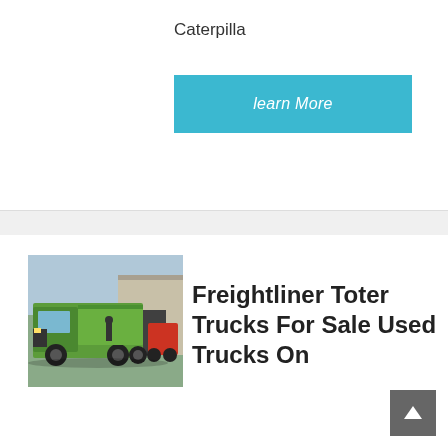Caterpilla
learn More
[Figure (photo): Green dump truck / freightliner toter truck parked outside a building]
Freightliner Toter Trucks For Sale Used Trucks On
2000 freightliner fl70 toter truck 2000 freightliner fl70 toter hauler. 3126 cat factory set at 250hp 13 speed rear end has been upgraded and an electric locker added air ride rear suspension with a built in dump valve for easy hook ups all six tires like ...